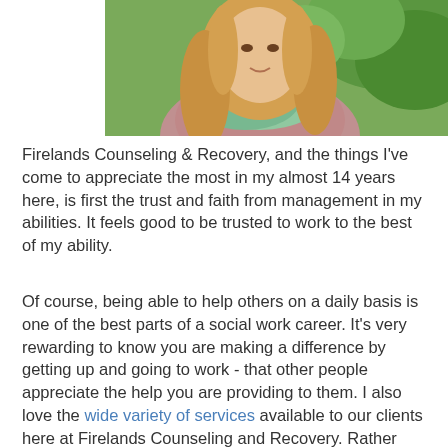[Figure (photo): Portrait photo of a woman with long blonde hair wearing a floral scarf and pink/mauve top, photographed outdoors with green foliage in background]
Firelands Counseling & Recovery, and the things I've come to appreciate the most in my almost 14 years here, is first the trust and faith from management in my abilities. It feels good to be trusted to work to the best of my ability.
Of course, being able to help others on a daily basis is one of the best parts of a social work career. It's very rewarding to know you are making a difference by getting up and going to work - that other people appreciate the help you are providing to them. I also love the wide variety of services available to our clients here at Firelands Counseling and Recovery. Rather than referring to other agencies, I am able to